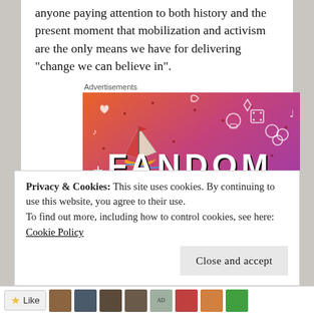anyone paying attention to both history and the present moment that mobilization and activism are the only means we have for delivering “change we can believe in”.
Advertisements
[Figure (illustration): Colorful advertisement banner for 'Fandom on tumblr' featuring illustrated stickers including a sailboat, skull, octopus, dice, and other doodles on a gradient orange-to-purple background with bold text reading FANDOM ON tumblr.]
Privacy & Cookies: This site uses cookies. By continuing to use this website, you agree to their use.
To find out more, including how to control cookies, see here:
Cookie Policy
Close and accept